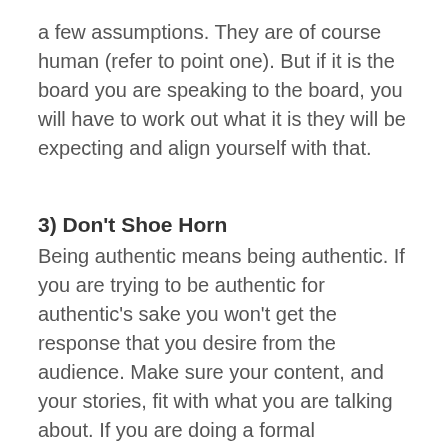a few assumptions. They are of course human (refer to point one). But if it is the board you are speaking to the board, you will have to work out what it is they will be expecting and align yourself with that.
3) Don't Shoe Horn
Being authentic means being authentic. If you are trying to be authentic for authentic's sake you won't get the response that you desire from the audience. Make sure your content, and your stories, fit with what you are talking about. If you are doing a formal presentation, like reading the news, or presenting to the board, there will be